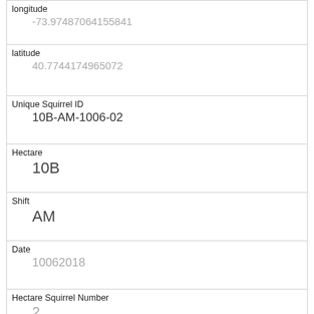| longitude | -73.97487064155841 |
| latitude | 40.7744174965072 |
| Unique Squirrel ID | 10B-AM-1006-02 |
| Hectare | 10B |
| Shift | AM |
| Date | 10062018 |
| Hectare Squirrel Number | 2 |
| Age | Juvenile |
| Primary Fur Color | Gray |
| Highlight Fur Color | Cinnamon |
| Combination of Primary and Highlight Color |  |